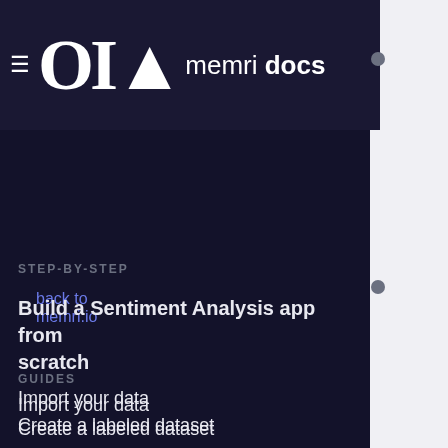memri docs
back to memri.io
STEP-BY-STEP
Build a Sentiment Analysis app from scratch
GUIDES
Import your data
Create a labeled dataset
Load a Dataset and Finetune a Model
Inspect your pod with Pod Explorer
OVERVIEW